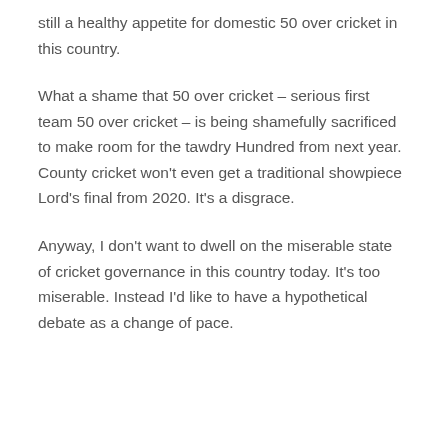still a healthy appetite for domestic 50 over cricket in this country.
What a shame that 50 over cricket – serious first team 50 over cricket – is being shamefully sacrificed to make room for the tawdry Hundred from next year. County cricket won't even get a traditional showpiece Lord's final from 2020. It's a disgrace.
Anyway, I don't want to dwell on the miserable state of cricket governance in this country today. It's too miserable. Instead I'd like to have a hypothetical debate as a change of pace.